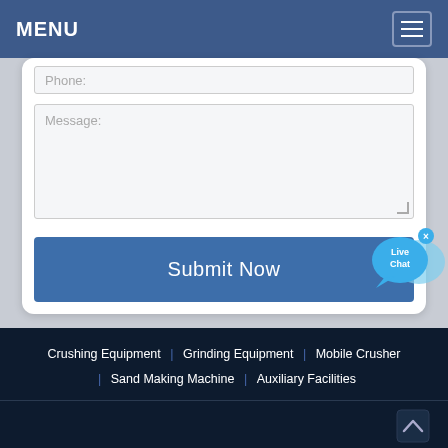MENU
Phone:
Message:
Submit Now
[Figure (screenshot): Live Chat bubble overlay icon with blue speech bubble and close X button]
Crushing Equipment | Grinding Equipment | Mobile Crusher | Sand Making Machine | Auxiliary Facilities
© 2022 AMC Intelligent Equipment Manufacturing Co., Ltd. | Sitemap